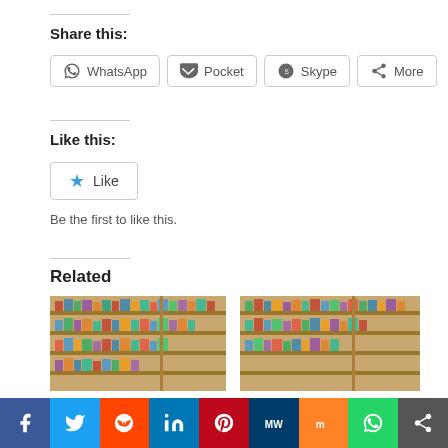Share this:
WhatsApp  Pocket  Skype  More
Like this:
Like
Be the first to like this.
Related
[Figure (photo): Bookshelf with books for Booked for the Summer!]
Booked for the Summer!
[Figure (photo): Bookshelf with books for Tsundoku Revisited: Booked for the Summer]
Tsundoku Revisited: Booked for the Summer
Facebook  Twitter  Reddit  LinkedIn  Pinterest  MeWe  Mix  WhatsApp  More